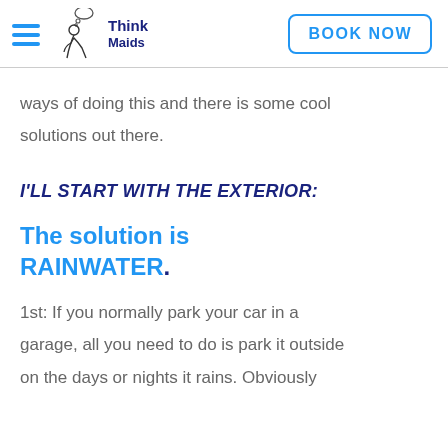Think Maids | BOOK NOW
ways of doing this and there is some cool solutions out there.
I'LL START WITH THE EXTERIOR:
The solution is RAINWATER.
1st: If you normally park your car in a garage, all you need to do is park it outside on the days or nights it rains. Obviously